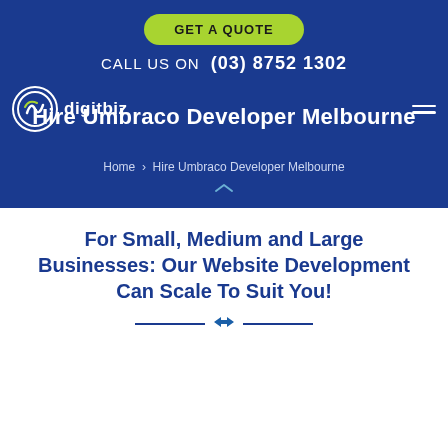GET A QUOTE
CALL US ON  (03) 8752 1302
[Figure (logo): Digitbiz logo with circular icon and text 'digitbiz' in white on blue background, hamburger menu on right]
Hire Umbraco Developer Melbourne
Home  Hire Umbraco Developer Melbourne
For Small, Medium and Large Businesses: Our Website Development Can Scale To Suit You!
[Figure (other): Google Rating widget showing 5.0 stars with green bar and close button]
website developers, our in- your next vision into a reality. cting our craft in all things surrounding digital design and development, we have